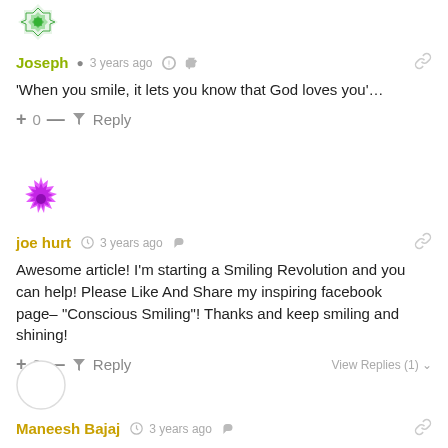[Figure (illustration): Green diamond/flower avatar for user Joseph]
Joseph  3 years ago
'When you smile, it lets you know that God loves you'…
+ 0 — Reply
[Figure (illustration): Pink/magenta spiky diamond avatar for user joe hurt]
joe hurt  3 years ago
Awesome article! I'm starting a Smiling Revolution and you can help! Please Like And Share my inspiring facebook page– "Conscious Smiling"! Thanks and keep smiling and shining!
+ 0 — Reply  View Replies (1)
[Figure (illustration): Empty gray circle avatar for user Maneesh Bajaj]
Maneesh Bajaj  3 years ago
Laugh and the world laughs with you and Cry (You cry alone)